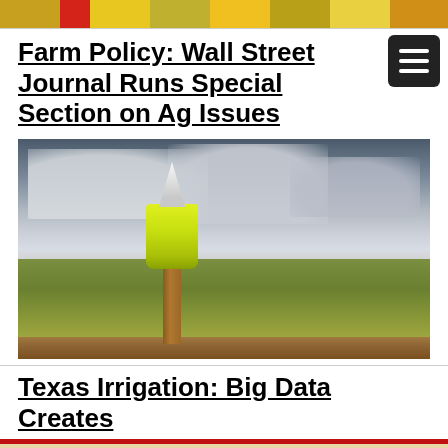[Figure (photo): Colorful newspaper/magazine strip at top of page]
Farm Policy: Wall Street Journal Runs Special Section on Ag Issues
[Figure (photo): Agricultural field photo with a green bottle on a wooden post in the foreground, storm clouds overhead, green crops in background]
Texas Irrigation: Big Data Creates